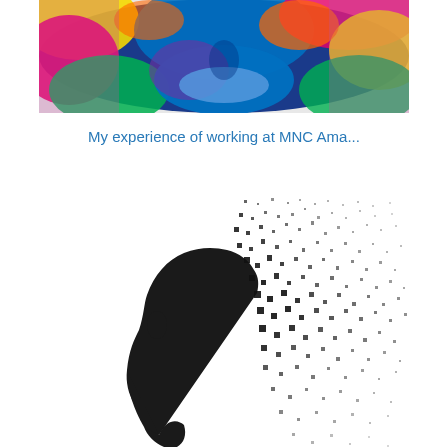[Figure (photo): Close-up photo of a face with colorful body paint covering the skin in vivid blue, pink, green, and yellow hues, with hands framing the face.]
My experience of working at MNC Ama...
[Figure (illustration): Black and white artistic illustration of a side-profile silhouette of a human head, with the upper part of the head and hair dissolving into scattered particles or dots flying to the right.]